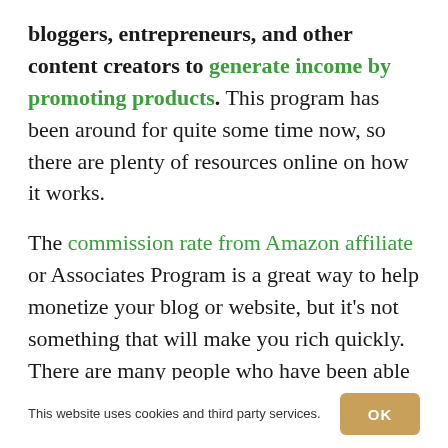bloggers, entrepreneurs, and other content creators to generate income by promoting products. This program has been around for quite some time now, so there are plenty of resources online on how it works.

The commission rate from Amazon affiliate or Associates Program is a great way to help monetize your blog or website, but it's not something that will make you rich quickly. There are many people who have been able to earn over $1000 to $5000 per month by utilizing the power of this program.
This website uses cookies and third party services.